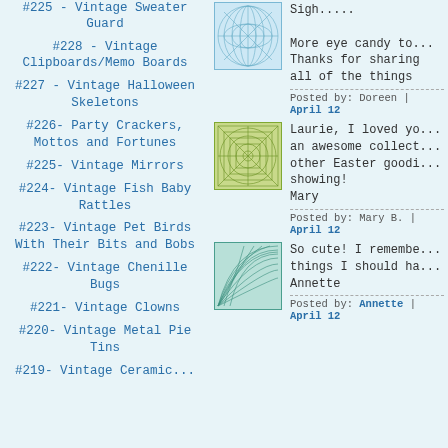#228 - Vintage Clipboards/Memo Boards
#227 - Vintage Halloween Skeletons
#226- Party Crackers, Mottos and Fortunes
#225- Vintage Mirrors
#224- Vintage Fish Baby Rattles
#223- Vintage Pet Birds With Their Bits and Bobs
#222- Vintage Chenille Bugs
#221- Vintage Clowns
#220- Vintage Metal Pie Tins
#219- Vintage Ceramic...
[Figure (illustration): Blue decorative square tile with wave/grid pattern]
Sigh.....

More eye candy to... Thanks for sharing all of the things
Posted by: Doreen | April 12
[Figure (illustration): Green decorative square tile with geometric starburst/grid pattern]
Laurie, I loved yo... an awesome collect... other Easter goodi... showing!
Mary
Posted by: Mary B. | April 12
[Figure (illustration): Teal/turquoise decorative square tile with wave/fan pattern]
So cute! I remembe... things I should ha... Annette
Posted by: Annette | April 12